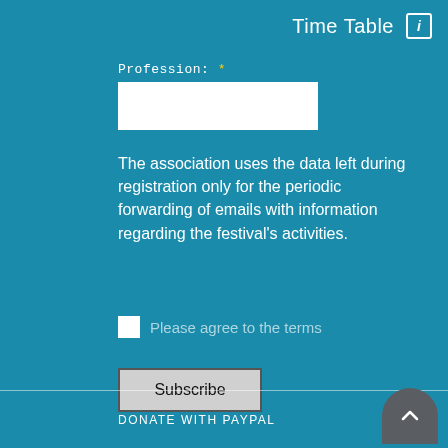Time Table
Profession: *
The association uses the data left during registration only for the periodic forwarding of emails with information regarding the festival's activities.
Please agree to the terms
Subscribe
DONATE WITH PAYPAL